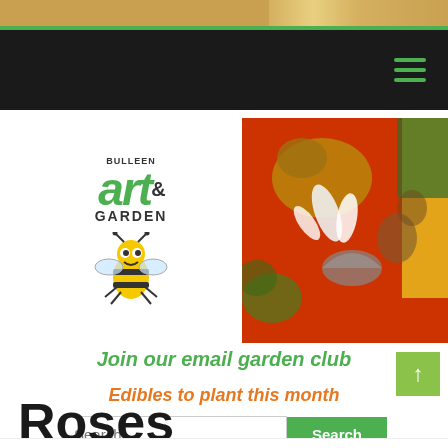[Figure (screenshot): Bulleen Art and Garden website screenshot showing logo, hero image with red wall and garden sculptures, navigation links, search bar, menu button, and partial Roses heading]
Join our email garden club
Edibles to plant this month
Roses